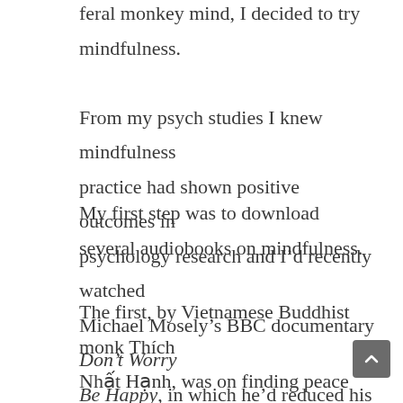feral monkey mind, I decided to try mindfulness. From my psych studies I knew mindfulness practice had shown positive outcomes in psychology research and I'd recently watched Michael Mosely's BBC documentary Don't Worry Be Happy, in which he'd reduced his anxiety levels over 7 weeks with daily 20-minute mindfulness sessions.
My first step was to download several audiobooks on mindfulness.
The first, by Vietnamese Buddhist monk Thích Nhất Hạnh, was on finding peace and slowing down. It was probably a bad sign that I found the